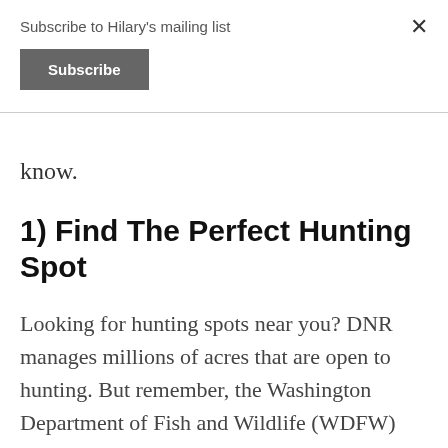Subscribe to Hilary's mailing list
Subscribe
know.
1) Find The Perfect Hunting Spot
Looking for hunting spots near you? DNR manages millions of acres that are open to hunting. But remember, the Washington Department of Fish and Wildlife (WDFW) regulates hunting. To learn more about